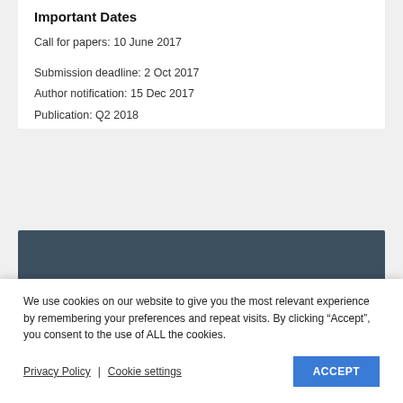Important Dates
Call for papers: 10 June 2017
Submission deadline: 2 Oct 2017
Author notification: 15 Dec 2017
Publication: Q2 2018
[Figure (other): Dark blue-grey banner/header bar]
We use cookies on our website to give you the most relevant experience by remembering your preferences and repeat visits. By clicking “Accept”, you consent to the use of ALL the cookies.
Privacy Policy  |  Cookie settings  ACCEPT